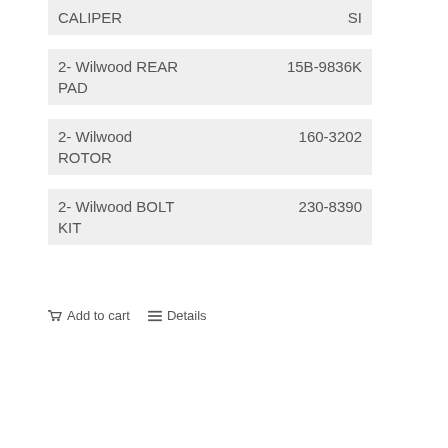| Item | Part Number |
| --- | --- |
| CALIPER | SI |
| 2- Wilwood REAR PAD | 15B-9836K |
| 2- Wilwood ROTOR | 160-3202 |
| 2- Wilwood BOLT KIT | 230-8390 |
Add to cart   Details